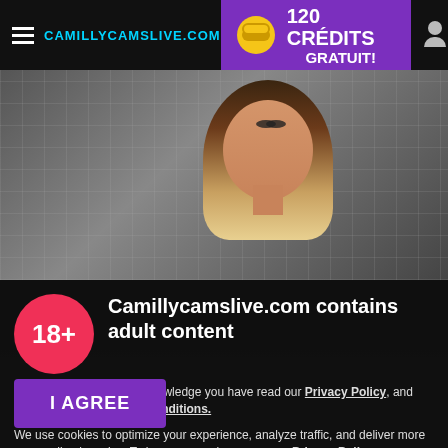CAMILLYCAMSLIVE.COM | 120 CRÉDITS GRATUIT!
[Figure (photo): Young woman with long blonde-highlighted hair against a metallic grid background]
Camillycamslive.com contains adult content
By using the site, you acknowledge you have read our Privacy Policy, and agree to our Terms and Conditions.
We use cookies to optimize your experience, analyze traffic, and deliver more personalized service. To learn more, please see our Privacy Policy.
I AGREE